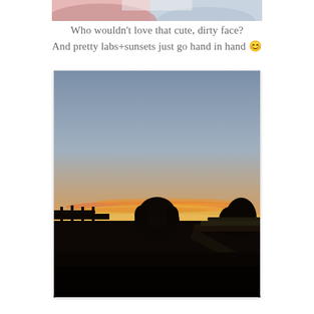[Figure (photo): Top portion of a photo showing a dog with a dirty/muddy face, pink and blue colors visible, cropped at top of page]
Who wouldn't love that cute, dirty face?
And pretty labs+sunsets just go hand in hand 😊
[Figure (photo): Silhouette of a Labrador dog looking out over a railing at a vivid sunset with orange, yellow, and pink streaks across the sky. Dark foreground with farm/rural structures visible on the horizon.]